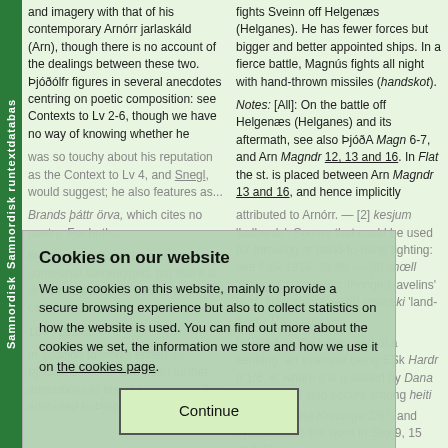Samnordisk runtextdatabas · Samnordisk
and imagery with that of his contemporary Arnórr jarlaskáld (Arn), though there is no account of the dealings between these two. Þjóðólfr figures in several anecdotes centring on poetic composition: see Contexts to Lv 2-6, though we have no way of knowing whether he was so touchy about his reputation as the Context to Lv 4, and Snegl, would suggest; he also features as...
fights Sveinn off Helgenæs (Helganes). He has fewer forces but bigger and better appointed ships. In a fierce battle, Magnús fights all night with hand-thrown missiles (handskot). Notes: [All]: On the battle off Helgenæs (Helganes) and its aftermath, see also ÞjóðA Magn 6-7, and Arn Magndr 12, 13 and 16. In Flat the st. is placed between Arn Magndr 13 and 16, and hence implicitly attributed to Arnórr. — [2] kesjum 'halberds': Spears that could be used for throwing or hand-to-hand fighting: see Falk 1914, 78:80. — [6] snœll 'thong': Cf. snœriðrr 'thonged javelins' in st. 10/6 above. — [8] landreki 'land-ruler': This could be...
Cookie overlay content: Cookies on our website. We use cookies on this website, mainly to provide a secure browsing experience but also to collect statistics on how the website is used. You can find out more about the cookies we set, the information we store and how we use it on the cookies page. Continue button.